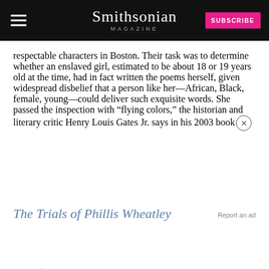Smithsonian MAGAZINE
respectable characters in Boston. Their task was to determine whether an enslaved girl, estimated to be about 18 or 19 years old at the time, had in fact written the poems herself, given widespread disbelief that a person like her—African, Black, female, young—could deliver such exquisite words. She passed the inspection with “flying colors,” the historian and literary critic Henry Louis Gates Jr. says in his 2003 book The Trials of Phillis Wheatley.
Born ... and sold from there into bondage. Phillis arrived in